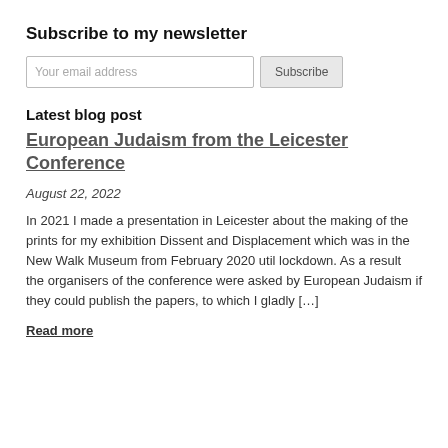Subscribe to my newsletter
Your email address  Subscribe
Latest blog post
European Judaism from the Leicester Conference
August 22, 2022
In 2021 I made a presentation in Leicester about the making of the prints for my exhibition Dissent and Displacement which was in the New Walk Museum from February 2020 util lockdown. As a result the organisers of the conference were asked by European Judaism if they could publish the papers, to which I gladly […]
Read more